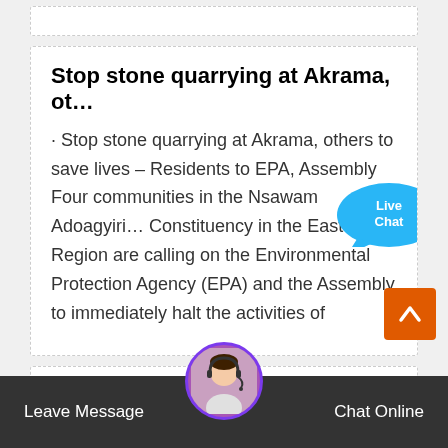Stop stone quarrying at Akrama, ot…
· Stop stone quarrying at Akrama, others to save lives – Residents to EPA, Assembly Four communities in the Nsawam Adoagyiri… Constituency in the Eastern Region are calling on the Environmental Protection Agency (EPA) and the Assembly to immediately halt the activities of
[Figure (illustration): Live Chat speech bubble widget in blue]
MINING AND QUARRYING
Stone and sand quarrying causes damage to property, depletion of water, loss of fertile top soil, degradation of land, adverse ene…
[Figure (illustration): Back to top orange button with upward chevron]
[Figure (photo): Customer service agent avatar with headset]
Leave Message   Chat Online